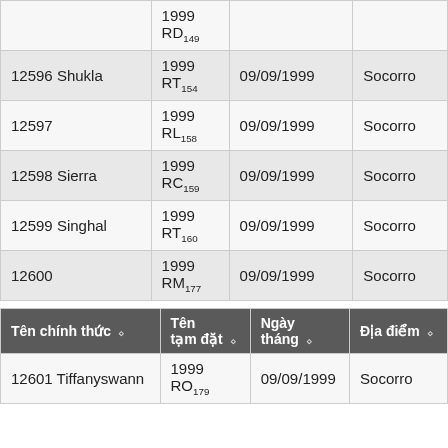| Tên chính thức | Tên tạm đặt | Ngày tháng | Địa điểm |
| --- | --- | --- | --- |
|  | 1999 RD149 |  |  |
| 12596 Shukla | 1999 RT154 | 09/09/1999 | Socorro |
| 12597 | 1999 RL158 | 09/09/1999 | Socorro |
| 12598 Sierra | 1999 RC159 | 09/09/1999 | Socorro |
| 12599 Singhal | 1999 RT160 | 09/09/1999 | Socorro |
| 12600 | 1999 RM177 | 09/09/1999 | Socorro |
| Tên chính thức | Tên tạm đặt | Ngày tháng | Địa điểm |
| --- | --- | --- | --- |
| 12601 Tiffanyswann | 1999 RO179 | 09/09/1999 | Socorro |